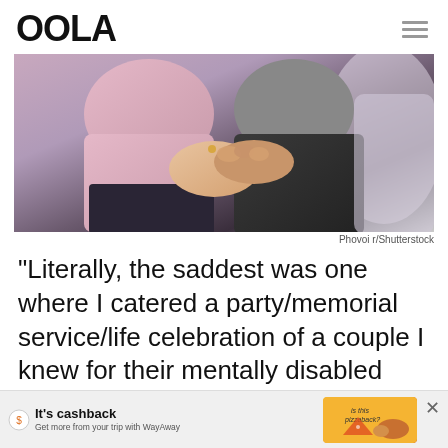OOLA
[Figure (photo): Two people sitting and holding hands, one wearing a pink top and the other in a dark jacket. Cropped to show torsos and hands only.]
Phov oir/Shutterstock
“Literally, the saddest was one where I catered a party/memorial service/life celebration of a couple I knew for their mentally disabled son
[Figure (infographic): WayAway advertisement banner. Shows WayAway logo, text 'It’s cashback', subtext 'Get more from your trip with WayAway', decorative pizza and hedgehog illustration with text 'is this pizzaback?', and an X close button.]